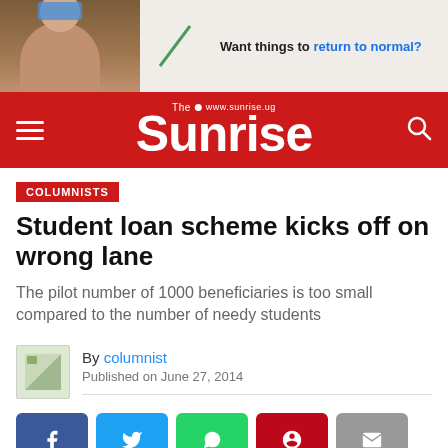[Figure (photo): Advertisement banner with a masked person and text 'Want things to return to normal?']
The Sunrise — www.sunrise.ug
COLUMNISTS
Student loan scheme kicks off on wrong lane
The pilot number of 1000 beneficiaries is too small compared to the number of needy students
By columnist
Published on June 27, 2014